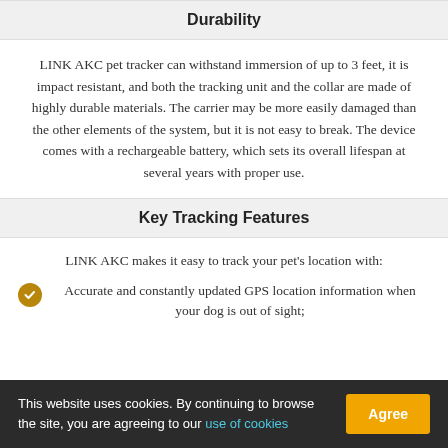Durability
LINK AKC pet tracker can withstand immersion of up to 3 feet, it is impact resistant, and both the tracking unit and the collar are made of highly durable materials. The carrier may be more easily damaged than the other elements of the system, but it is not easy to break. The device comes with a rechargeable battery, which sets its overall lifespan at several years with proper use.
Key Tracking Features
LINK AKC makes it easy to track your pet's location with:
Accurate and constantly updated GPS location information when your dog is out of sight;
This website uses cookies. By continuing to browse the site, you are agreeing to our use of cookies